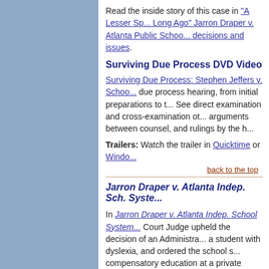Read the inside story of this case in "A Lesser Sp... Long Ago" Jarron Draper v. Atlanta Public Schoo... decisions and issues.
Surviving Due Process DVD Video
Surviving Due Process: Stephen Jeffers v. Schoo... due process hearing, from initial preparations to t... See direct examination and cross-examination ot... arguments between counsel, and rulings by the h...
Trailers: Watch the trailer in Quicktime or Windo...
back to the top
Jarron Draper v. Atlanta Indep. Sch. Syste...
In Jarron Draper v. Atlanta Indep. School System... Court Judge upheld the decision of an Administra... a student with dyslexia, and ordered the school s... compensatory education at a private special edu...
The decision in Jarron Draper v. Atlanta Indep. S... issues:
- Statute of Limitations
- Burden of Proof
- ALJ's Findings of Fact